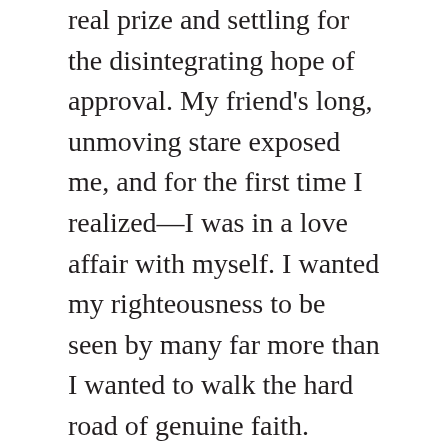real prize and settling for the disintegrating hope of approval. My friend's long, unmoving stare exposed me, and for the first time I realized—I was in a love affair with myself. I wanted my righteousness to be seen by many far more than I wanted to walk the hard road of genuine faith.
Saul was in a similar position—talking to a friend, trying to prove his fidelity—but his friend Samuel was not convinced and lovingly uncovered his shameful condition. For a moment in Saul's story it seems that he has taken a turn, repented of his foolish